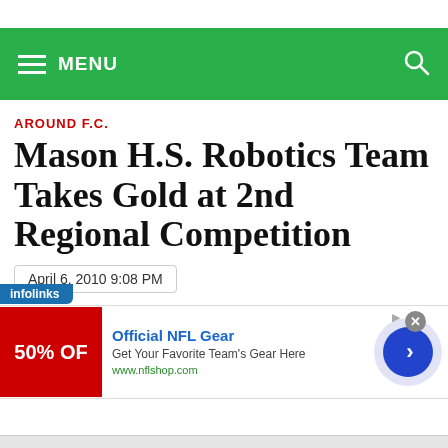MENU
AROUND F.C.
Mason H.S. Robotics Team Takes Gold at 2nd Regional Competition
April 6, 2010 9:08 PM
[Figure (screenshot): Advertisement banner: infolinks badge, NFL Shop ad with '50% OFF' image, 'Official NFL Gear' headline, 'Get Your Favorite Team's Gear Here', 'www.nflshop.com', arrow button, close button]